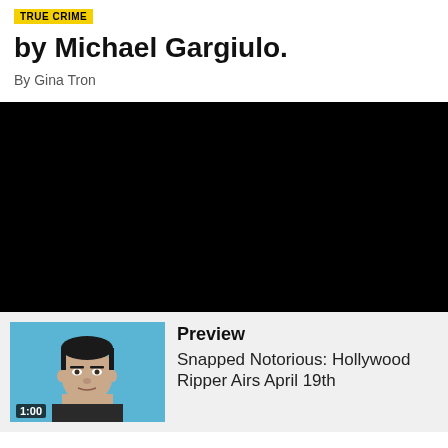TRUE CRIME
by Michael Gargiulo.
By Gina Tron
[Figure (other): Black video player area]
[Figure (photo): Mugshot photo of Michael Gargiulo on a light blue background with duration badge 1:00]
Preview
Snapped Notorious: Hollywood Ripper Airs April 19th